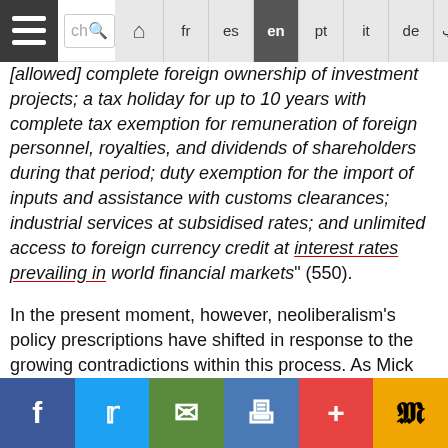Navigation bar with search and language options: fr es en pt it de Arabic
[allowed] complete foreign ownership of investment projects; a tax holiday for up to 10 years with complete tax exemption for remuneration of foreign personnel, royalties, and dividends of shareholders during that period; duty exemption for the import of inputs and assistance with customs clearances; industrial services at subsidised rates; and unlimited access to foreign currency credit at interest rates prevailing in world financial markets" (550).
In the present moment, however, neoliberalism’s policy prescriptions have shifted in response to the growing contradictions within this process. As Mick Moore (2017), for example, has demonstrated, “institutionalised pressure for tax exemptions” contributed to the hollowing out of Sri Lanka’s revenue base, which helped create the fiscal crisis we observe today (13). Yet for the neoliberal elements within the
Social share bar: Facebook, Twitter, Email, Print, Plus, Pocket